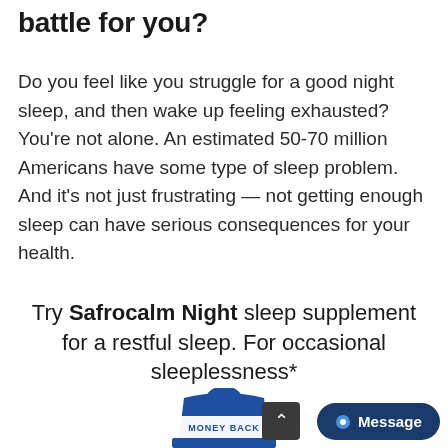battle for you?
Do you feel like you struggle for a good night sleep, and then wake up feeling exhausted? You're not alone. An estimated 50-70 million Americans have some type of sleep problem. And it's not just frustrating — not getting enough sleep can have serious consequences for your health.
Try Safrocalm Night sleep supplement for a restful sleep. For occasional sleeplessness*
[Figure (illustration): Money back guarantee badge — blue shield/lock shape with 'MONEY BACK' text in blue]
Message